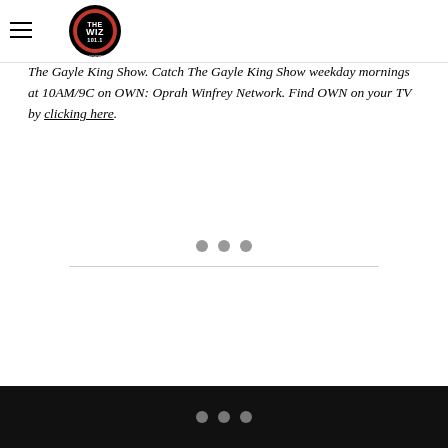The Wiz 101.1 - logo navigation bar
comment. Click the image below to access more special
The Gayle King Show. Catch The Gayle King Show weekday mornings at 10AM/9C on OWN: Oprah Winfrey Network. Find OWN on your TV by clicking here.
[Figure (other): Three grey loading dots above a horizontal divider line, indicating loading content]
Black footer bar with three grey dots